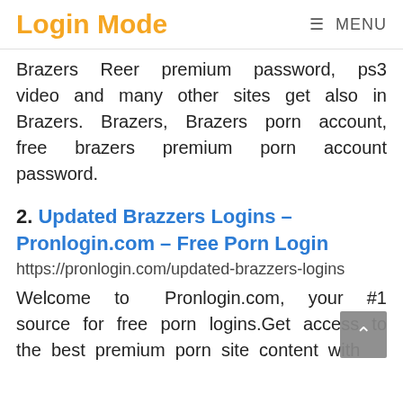Login Mode   ≡ MENU
Brazers Reel premium password, ps3 video and many other sites get also in Brazers. Brazers, Brazers porn account, free brazers premium porn account password.
2. Updated Brazzers Logins – Pronlogin.com – Free Porn Login
https://pronlogin.com/updated-brazzers-logins
Welcome to Pronlogin.com, your #1 source for free porn logins.Get access to the best premium porn site content with